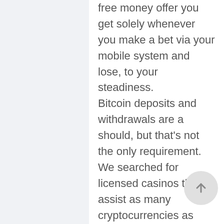free money offer you get solely whenever you make a bet via your mobile system and lose, to your steadiness. Bitcoin deposits and withdrawals are a should, but that's not the only requirement. We searched for licensed casinos that assist as many cryptocurrencies as attainable. In our opinion, the highest crypto casinos also assure https://canlbahis.icu/madder-scientist-slot-machine/ zero charges and quick payout instances, ideally immediate. You have to promote your platform, games, and bonuses that you offer. You should create an account and